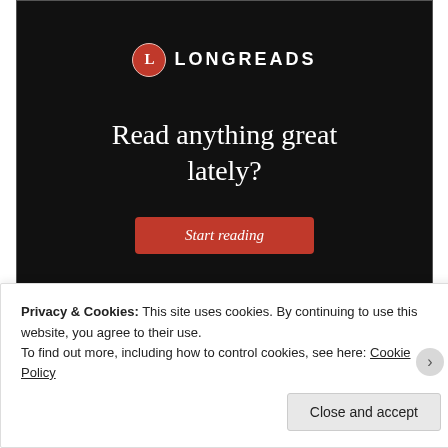[Figure (illustration): Longreads advertisement banner on dark background with logo, tagline 'Read anything great lately?' and a red 'Start reading' button]
REPORT THIS AD
SUBSCRIBE
Entries (RSS)
Privacy & Cookies: This site uses cookies. By continuing to use this website, you agree to their use.
To find out more, including how to control cookies, see here: Cookie Policy
Close and accept